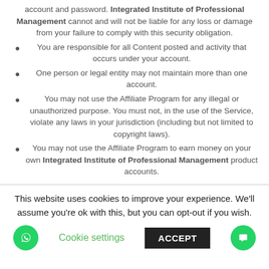account and password. Integrated Institute of Professional Management cannot and will not be liable for any loss or damage from your failure to comply with this security obligation.
You are responsible for all Content posted and activity that occurs under your account.
One person or legal entity may not maintain more than one account.
You may not use the Affiliate Program for any illegal or unauthorized purpose. You must not, in the use of the Service, violate any laws in your jurisdiction (including but not limited to copyright laws).
You may not use the Affiliate Program to earn money on your own Integrated Institute of Professional Management product accounts.
This website uses cookies to improve your experience. We'll assume you're ok with this, but you can opt-out if you wish.
Cookie settings  ACCEPT